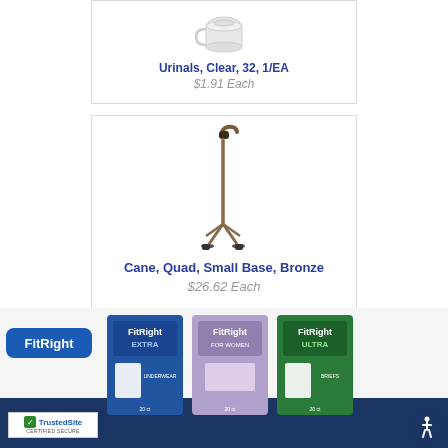[Figure (photo): Urinal, clear plastic medical device]
Urinals, Clear, 32, 1/EA
$1.91 Each
[Figure (photo): Quad cane with small base, bronze colored]
Cane, Quad, Small Base, Bronze
$26.62 Each
[Figure (photo): FitRight brand incontinence products banner showing FitRight logo, FitRight Extra, FitRight for Women, and FitRight Ultra packages, with TrustedSite certified secure badge and accessibility icon]